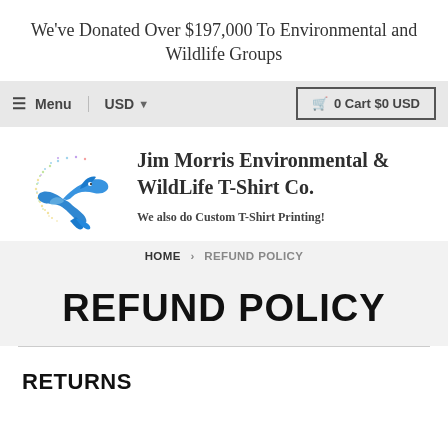We've Donated Over $197,000 To Environmental and Wildlife Groups
≡ Menu  USD  🛒 0 Cart $0 USD
[Figure (logo): Jim Morris Environmental & WildLife T-Shirt Co. logo with dolphin illustration]
Jim Morris Environmental & WildLife T-Shirt Co.
We also do Custom T-Shirt Printing!
HOME › REFUND POLICY
REFUND POLICY
RETURNS